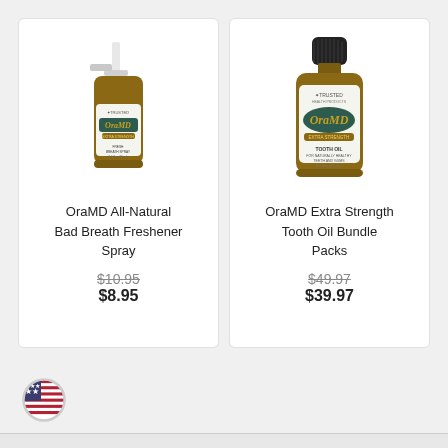[Figure (photo): OraMD All-Natural Bad Breath Freshener Spray product bottle with pump sprayer]
OraMD All-Natural Bad Breath Freshener Spray
$10.95
$8.95
[Figure (photo): OraMD Extra Strength Tooth Oil Bundle Packs - amber glass bottle]
OraMD Extra Strength Tooth Oil Bundle Packs
$49.97
$39.97
[Figure (illustration): US flag circle icon]